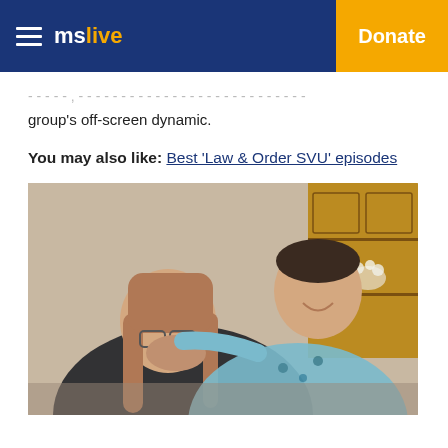mslive  Donate
…and appreciate the inside glimpse of the group's off-screen dynamic.
You may also like: Best 'Law & Order SVU' episodes
[Figure (photo): Two people laughing together indoors; a woman with glasses and long hair covering her mouth while laughing, and a man in a floral shirt smiling beside her, with wooden furniture in the background.]